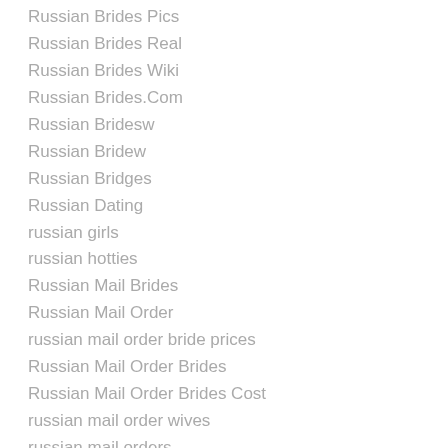Russian Brides Pics
Russian Brides Real
Russian Brides Wiki
Russian Brides.Com
Russian Bridesw
Russian Bridew
Russian Bridges
Russian Dating
russian girls
russian hotties
Russian Mail Brides
Russian Mail Order
russian mail order bride prices
Russian Mail Order Brides
Russian Mail Order Brides Cost
russian mail order wives
russian mail orders
Russian Mailorder Bride